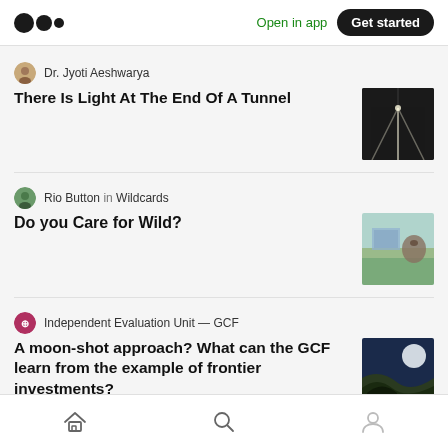Medium logo | Open in app | Get started
Dr. Jyoti Aeshwarya
There Is Light At The End Of A Tunnel
Rio Button in Wildcards
Do you Care for Wild?
Independent Evaluation Unit — GCF
A moon-shot approach? What can the GCF learn from the example of frontier investments?
Home | Search | Profile